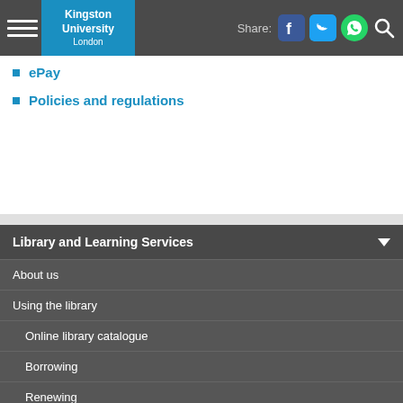Kingston University London - navigation bar with hamburger menu, logo, share buttons (Facebook, Twitter, WhatsApp), and search icon
ePay...
Policies and regulations
Library and Learning Services
About us
Using the library
Online library catalogue
Borrowing
Renewing
Fine rates
Facilities